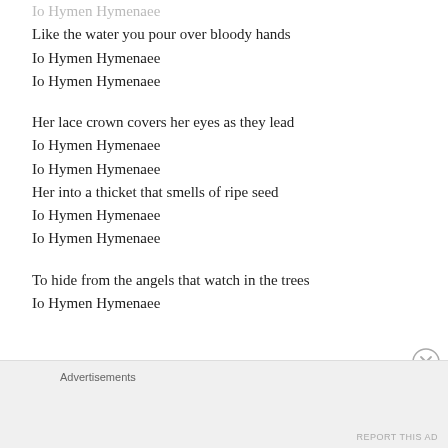Io Hymen Hymenaee
Like the water you pour over bloody hands
Io Hymen Hymenaee
Io Hymen Hymenaee
Her lace crown covers her eyes as they lead
Io Hymen Hymenaee
Io Hymen Hymenaee
Her into a thicket that smells of ripe seed
Io Hymen Hymenaee
Io Hymen Hymenaee
To hide from the angels that watch in the trees
Io Hymen Hymenaee
Advertisements